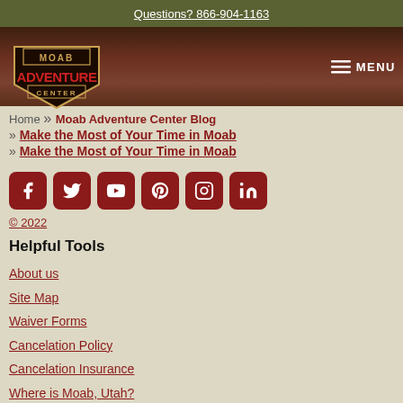Questions? 866-904-1163
[Figure (logo): Moab Adventure Center logo — shield shape with MOAB ADVENTURE CENTER text]
MENU
Home » Moab Adventure Center Blog » Make the Most of Your Time in Moab » Make the Most of Your Time in Moab
[Figure (infographic): Social media icons: Facebook, Twitter, YouTube, Pinterest, Instagram, LinkedIn — dark red rounded square buttons]
© 2022
Helpful Tools
About us
Site Map
Waiver Forms
Cancelation Policy
Cancelation Insurance
Where is Moab, Utah?